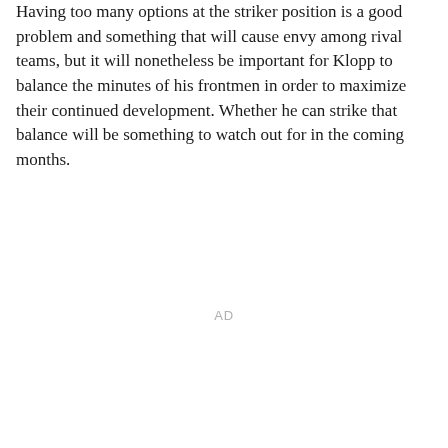Having too many options at the striker position is a good problem and something that will cause envy among rival teams, but it will nonetheless be important for Klopp to balance the minutes of his frontmen in order to maximize their continued development. Whether he can strike that balance will be something to watch out for in the coming months.
AD